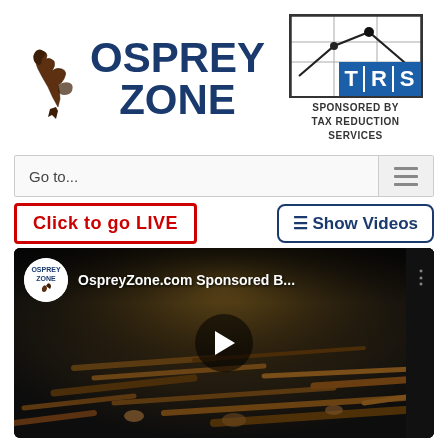[Figure (logo): Osprey Zone logo with stylized bird graphic and bold dark blue text reading OSPREY ZONE]
[Figure (logo): TRS (Tax Reduction Services) logo — a chart with a peaked line graph above a blue box with letters T, R, S. Below: SPONSORED BY TAX REDUCTION SERVICES]
Go to...
Click to go LIVE
≡ Show Videos
[Figure (screenshot): YouTube video thumbnail showing an osprey nest with sticks and twigs, with Osprey Zone channel icon and title 'OspreyZone.com Sponsored B...' and a play button overlay]